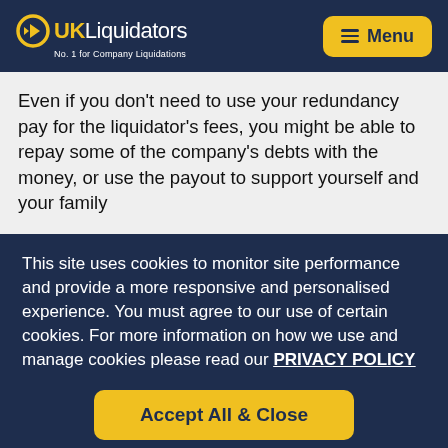UK Liquidators — No. 1 for Company Liquidations
Even if you don't need to use your redundancy pay for the liquidator's fees, you might be able to repay some of the company's debts with the money, or use the payout to support yourself and your family
This site uses cookies to monitor site performance and provide a more responsive and personalised experience. You must agree to our use of certain cookies. For more information on how we use and manage cookies please read our PRIVACY POLICY
Accept All & Close